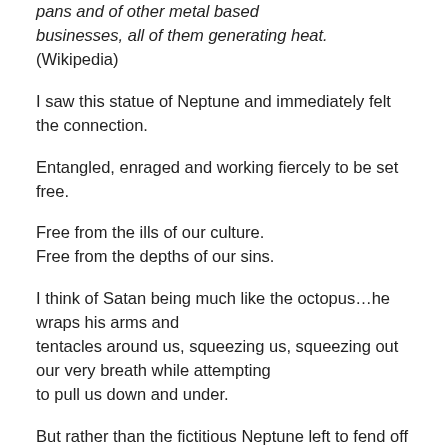pans and of other metal based businesses, all of them generating heat. (Wikipedia)
I saw this statue of Neptune and immediately felt the connection.
Entangled, enraged and working fiercely to be set free.
Free from the ills of our culture.
Free from the depths of our sins.
I think of Satan being much like the octopus…he wraps his arms and tentacles around us, squeezing us, squeezing out our very breath while attempting to pull us down and under.
But rather than the fictitious Neptune left to fend off this